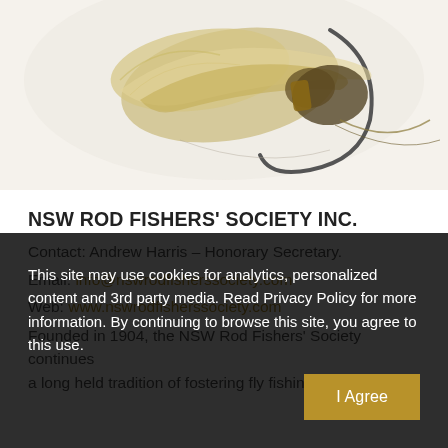[Figure (photo): Close-up photo of a fishing fly (fly fishing lure) against a light background, showing feathers, thread wrapping, and hook detail. Colors include golden/tan feathers and dark brown elements.]
NSW ROD FISHERS' SOCIETY INC.
Contact: Andrew Harris – Honorary Secretary.
Email: info@nswrodfisherssociety.com
Web: www.nswrodfisherssociety.com
Founded in 1904, the NSW Rod Fishers' Society continues a long held tradition of fostering fly fishing for trout in
This site may use cookies for analytics, personalized content and 3rd party media. Read Privacy Policy for more information. By continuing to browse this site, you agree to this use.